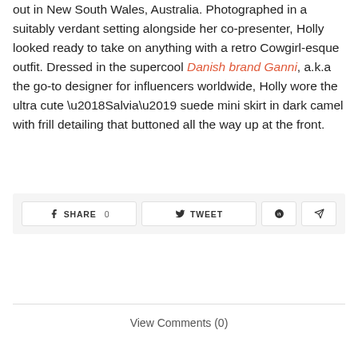out in New South Wales, Australia. Photographed in a suitably verdant setting alongside her co-presenter, Holly looked ready to take on anything with a retro Cowgirl-esque outfit. Dressed in the supercool Danish brand Ganni, a.k.a the go-to designer for influencers worldwide, Holly wore the ultra cute ‘Salvia’ suede mini skirt in dark camel with frill detailing that buttoned all the way up at the front.
SHARE 0  TWEET  [Pinterest]  [Send]
View Comments (0)